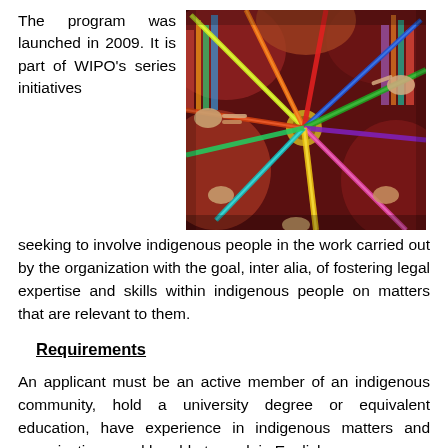The program was launched in 2009. It is part of WIPO's series initiatives seeking to involve indigenous people in the work carried out by the organization with the goal, inter alia, of fostering legal expertise and skills within indigenous people on matters that are relevant to them.
[Figure (photo): Photo of people in colorful traditional indigenous clothing working together with multicolored ribbons or strands converging at a central point, viewed from above.]
Requirements
An applicant must be an active member of an indigenous community, hold a university degree or equivalent education, have experience in indigenous matters and organizations, and be able to work in English.